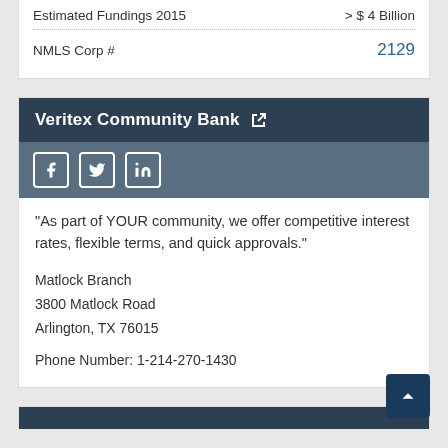Estimated Fundings 2015    > $ 4 Billion
NMLS Corp #    2129
Veritex Community Bank
"As part of YOUR community, we offer competitive interest rates, flexible terms, and quick approvals."
Matlock Branch
3800 Matlock Road
Arlington, TX 76015
Phone Number: 1-214-270-1430